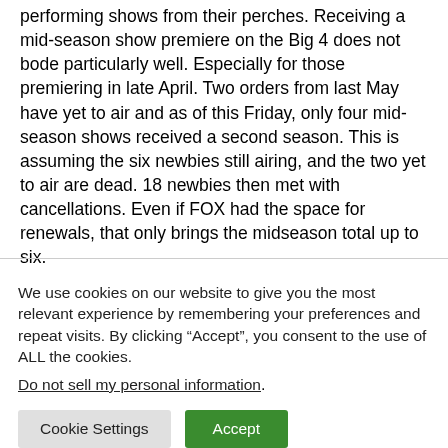performing shows from their perches. Receiving a mid-season show premiere on the Big 4 does not bode particularly well. Especially for those premiering in late April. Two orders from last May have yet to air and as of this Friday, only four mid-season shows received a second season. This is assuming the six newbies still airing, and the two yet to air are dead. 18 newbies then met with cancellations. Even if FOX had the space for renewals, that only brings the midseason total up to six.
We use cookies on our website to give you the most relevant experience by remembering your preferences and repeat visits. By clicking “Accept”, you consent to the use of ALL the cookies.
Do not sell my personal information.